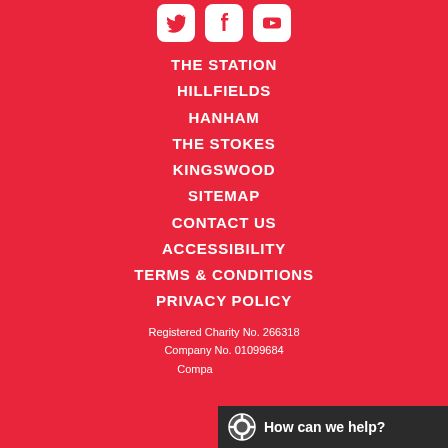[Figure (illustration): Three white rounded square social media icons: Twitter bird, Facebook f, YouTube play button, on a red background]
THE STATION
HILLFIELDS
HANHAM
THE STOKES
KINGSWOOD
SITEMAP
CONTACT US
ACCESSIBILITY
TERMS & CONDITIONS
PRIVACY POLICY
Registered Charity No. 266318
Company No. 01099684
[Figure (illustration): Dark chat bar overlay at bottom right with circular icon and text 'How can we help?']